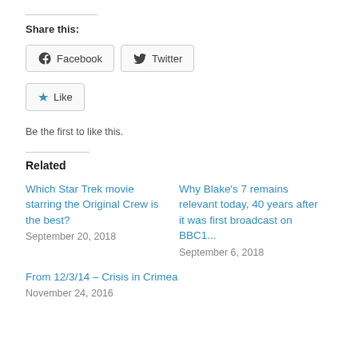Share this:
Facebook
Twitter
Like
Be the first to like this.
Related
Which Star Trek movie starring the Original Crew is the best?
September 20, 2018
Why Blake's 7 remains relevant today, 40 years after it was first broadcast on BBC1...
September 6, 2018
From 12/3/14 – Crisis in Crimea
November 24, 2016